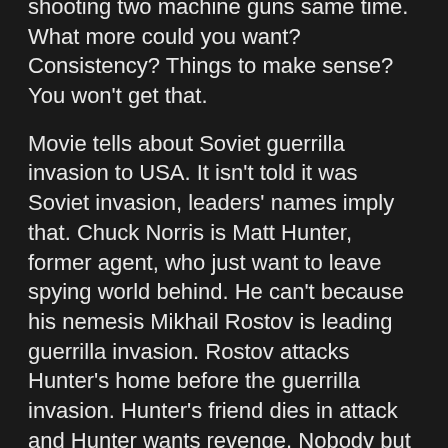shooting two machine guns same time. What more could you want? Consistency? Things to make sense? You won't get that.
Movie tells about Soviet guerrilla invasion to USA. It isn't told it was Soviet invasion, leaders' names imply that. Chuck Norris is Matt Hunter, former agent, who just want to leave spying world behind. He can't because his nemesis Mikhail Rostov is leading guerrilla invasion. Rostov attacks Hunter's home before the guerrilla invasion. Hunter's friend dies in attack and Hunter wants revenge. Nobody but Hunter can stop the invasion.
I could nitpick for ages how inconsistent the story is. But that is not the point. This doesn't try to be realistic or make sense. This is series of scenes giving audience what they want to see. Movie doesn't spend too much time showing aftermath of violence. If it shows explosion, it shows the explosion and then cuts the next scene before debris hit the ground. It feels like genius cutting. When Matt Hunter drives the street, where everyone hates him and his car, we see how lonely he is, trying to save people who hate him. He just